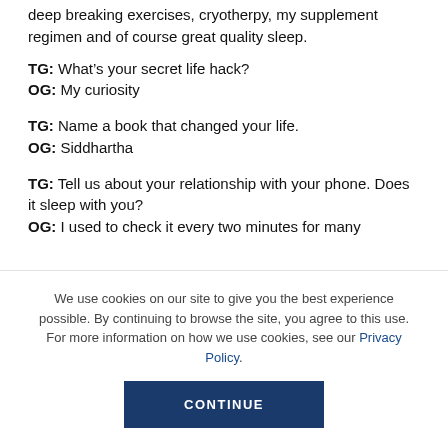deep breaking exercises, cryotherpy, my supplement regimen and of course great quality sleep.
TG: What’s your secret life hack?
OG: My curiosity
TG: Name a book that changed your life.
OG: Siddhartha
TG: Tell us about your relationship with your phone. Does it sleep with you?
OG: I used to check it every two minutes for many
We use cookies on our site to give you the best experience possible. By continuing to browse the site, you agree to this use. For more information on how we use cookies, see our Privacy Policy.
CONTINUE